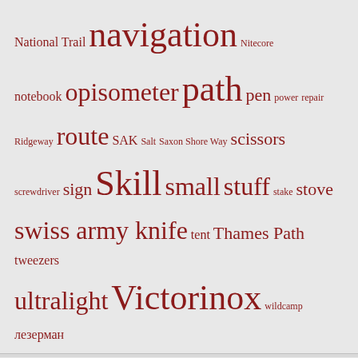[Figure (other): Tag cloud with words in various sizes in dark red: National Trail, navigation, Nitecore, notebook, opisometer, path, pen, power, repair, Ridgeway, route, SAK, Salt, Saxon Shore Way, scissors, screwdriver, sign, Skill, small, stuff, stake, stove, swiss army knife, tent, Thames Path, tweezers, ultralight, Victorinox, wildcamp, лезерман]
THREE POINTS OF THE COMPASS
RSS - Posts
RSS - Comments
[Figure (other): WordPress Follow button: Follow Three Points of the Compass]
FOLLOW BLOG VIA EMAIL
Enter your email address to follow this blog and receive notifications of new posts by email.